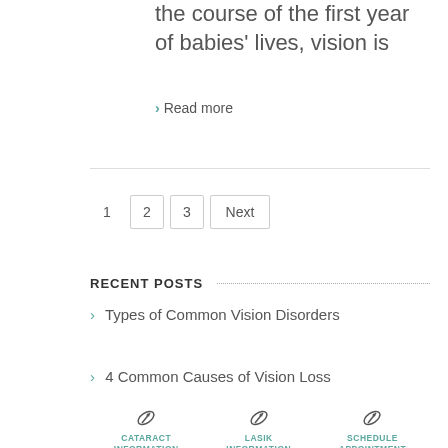the course of the first year of babies' lives, vision is
› Read more
1  2  3  Next
RECENT POSTS
› Types of Common Vision Disorders
› 4 Common Causes of Vision Loss
CATARACT INFORMATION   LASIK INFORMATION   SCHEDULE APPOINTMENT